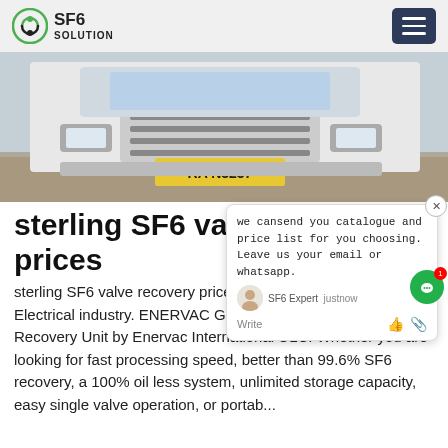SF6 SOLUTION
[Figure (photo): Front view of a white Isuzu truck parked on a paved surface, with license plate RA N3237]
sterling SF6 valve recovery prices
sterling SF6 valve recovery prices,sf6 mix VALVES monitor Electrical industry. ENERVAC GRU 7 Series SF6 Gas Recovery Unit by Enervac International ULC. Whether you are looking for fast processing speed, better than 99.6% SF6 recovery, a 100% oil less system, unlimited storage capacity, easy single valve operation, or portab...